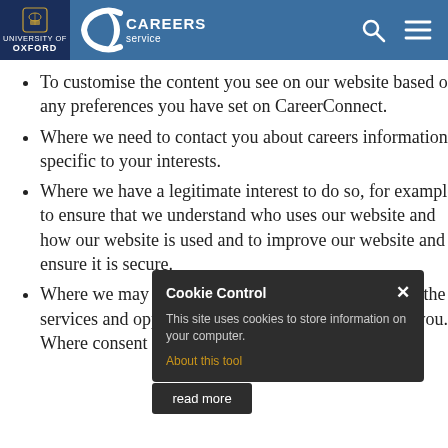University of Oxford Careers Service
To customise the content you see on our website based on any preferences you have set on CareerConnect.
Where we need to contact you about careers information specific to your interests.
Where we have a legitimate interest to do so, for example to ensure that we understand who uses our website and how our website is used and to improve our website and ensure it is secure.
Where we may send you information by email about the services and opportunities that may be of interest to you. Where consent is required for our
Cookie Control
This site uses cookies to store information on your computer.
About this tool
read more